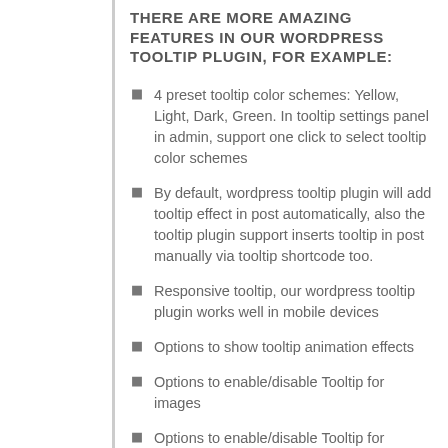THERE ARE MORE AMAZING FEATURES IN OUR WORDPRESS TOOLTIP PLUGIN, FOR EXAMPLE:
4 preset tooltip color schemes: Yellow, Light, Dark, Green. In tooltip settings panel in admin, support one click to select tooltip color schemes
By default, wordpress tooltip plugin will add tooltip effect in post automatically, also the tooltip plugin support inserts tooltip in post manually via tooltip shortcode too.
Responsive tooltip, our wordpress tooltip plugin works well in mobile devices
Options to show tooltip animation effects
Options to enable/disable Tooltip for images
Options to enable/disable Tooltip for